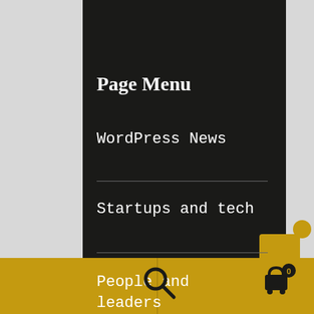Page Menu
WordPress News
Startups and tech
People and leaders
[Figure (other): Golden footer bar with search magnifying glass icon on the left and shopping cart icon with badge showing 0 on the right]